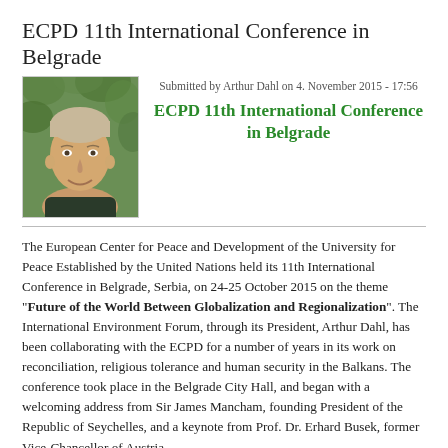ECPD 11th International Conference in Belgrade
Submitted by Arthur Dahl on 4. November 2015 - 17:56
ECPD 11th International Conference in Belgrade
[Figure (photo): Portrait photo of Arthur Dahl, a middle-aged man with light hair, smiling, wearing a dark top, against a green leafy background]
The European Center for Peace and Development of the University for Peace Established by the United Nations held its 11th International Conference in Belgrade, Serbia, on 24-25 October 2015 on the theme "Future of the World Between Globalization and Regionalization". The International Environment Forum, through its President, Arthur Dahl, has been collaborating with the ECPD for a number of years in its work on reconciliation, religious tolerance and human security in the Balkans. The conference took place in the Belgrade City Hall, and began with a welcoming address from Sir James Mancham, founding President of the Republic of Seychelles, and a keynote from Prof. Dr. Erhard Busek, former Vice-Chancellor of Austria.